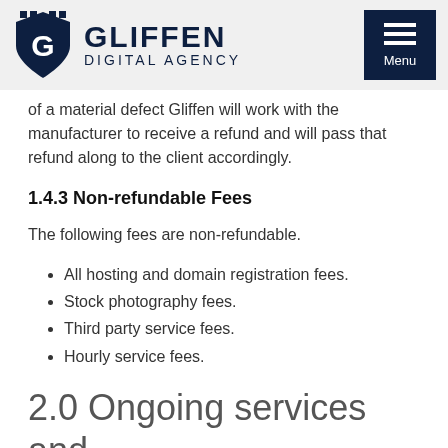[Figure (logo): Gliffen Digital Agency logo with shield icon on left, and hamburger menu button on right]
of a material defect Gliffen will work with the manufacturer to receive a refund and will pass that refund along to the client accordingly.
1.4.3 Non-refundable Fees
The following fees are non-refundable.
All hosting and domain registration fees.
Stock photography fees.
Third party service fees.
Hourly service fees.
2.0 Ongoing services and